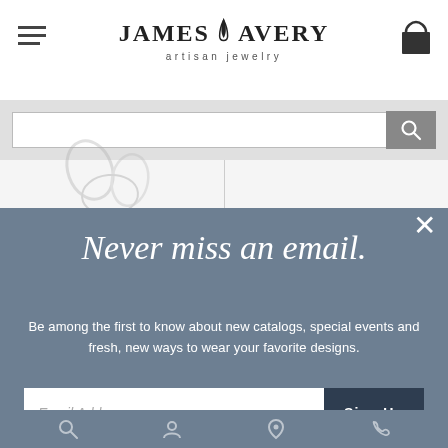James Avery artisan jewelry
[Figure (screenshot): Search bar with magnifying glass button]
[Figure (photo): Jewelry items (paper clips / chain links) visible in background]
Never miss an email.
Be among the first to know about new catalogs, special events and fresh, new ways to wear your favorite designs.
Email Address  Sign Up
Bottom navigation icons